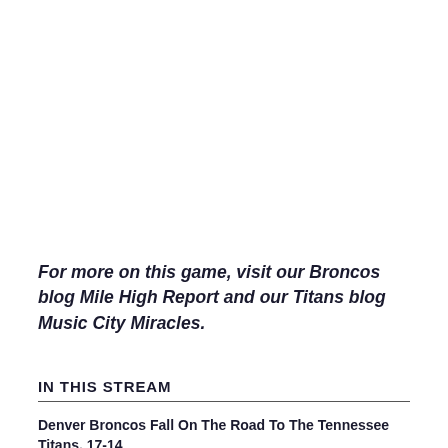For more on this game, visit our Broncos blog Mile High Report and our Titans blog Music City Miracles.
IN THIS STREAM
Denver Broncos Fall On The Road To The Tennessee Titans, 17-14